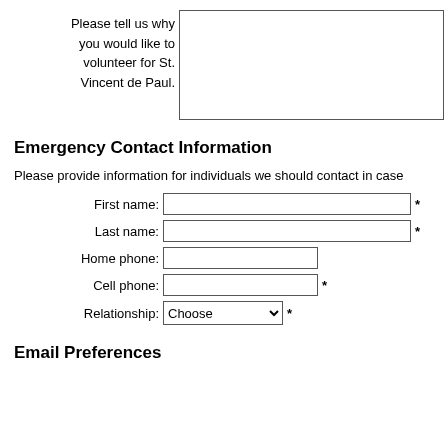Please tell us why you would like to volunteer for St. Vincent de Paul.
Emergency Contact Information
Please provide information for individuals we should contact in case
First name: * Last name: * Home phone: Cell phone: * Relationship: Choose *
Email Preferences